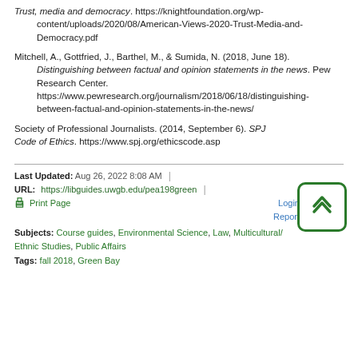Trust, media and democracy. https://knightfoundation.org/wp-content/uploads/2020/08/American-Views-2020-Trust-Media-and-Democracy.pdf
Mitchell, A., Gottfried, J., Barthel, M., & Sumida, N. (2018, June 18). Distinguishing between factual and opinion statements in the news. Pew Research Center. https://www.pewresearch.org/journalism/2018/06/18/distinguishing-between-factual-and-opinion-statements-in-the-news/
Society of Professional Journalists. (2014, September 6). SPJ Code of Ethics. https://www.spj.org/ethicscode.asp
[Figure (other): Scroll to top button icon with upward double chevron in green rounded square border]
Last Updated: Aug 26, 2022 8:08 AM | URL: https://libguides.uwgb.edu/pea198green |
Print Page    Login to LibApps  Report a problem.
Subjects: Course guides, Environmental Science, Law, Multicultural/Ethnic Studies, Public Affairs
Tags: fall 2018, Green Bay